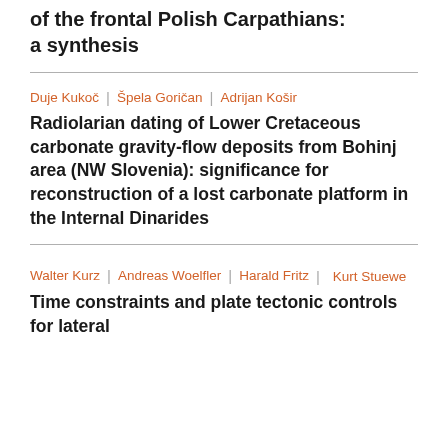of the frontal Polish Carpathians: a synthesis
Duje Kukoč | Špela Goričan | Adrijan Košir
Radiolarian dating of Lower Cretaceous carbonate gravity-flow deposits from Bohinj area (NW Slovenia): significance for reconstruction of a lost carbonate platform in the Internal Dinarides
Walter Kurz | Andreas Woelfler | Harald Fritz | Kurt Stuewe
Time constraints and plate tectonic controls for lateral